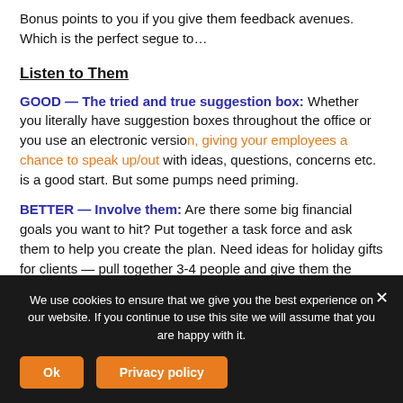Bonus points to you if you give them feedback avenues. Which is the perfect segue to…
Listen to Them
GOOD — The tried and true suggestion box: Whether you literally have suggestion boxes throughout the office or you use an electronic version, giving your employees a chance to speak up/out with ideas, questions, concerns etc. is a good start.  But some pumps need priming.
BETTER — Involve them: Are there some big financial goals you want to hit?  Put together a task force and ask them to help you create the plan.  Need ideas for holiday gifts for clients — pull together 3-4 people and give them the assignment.  Want to improve your recruiting efforts?  Why
We use cookies to ensure that we give you the best experience on our website. If you continue to use this site we will assume that you are happy with it.
Ok
Privacy policy